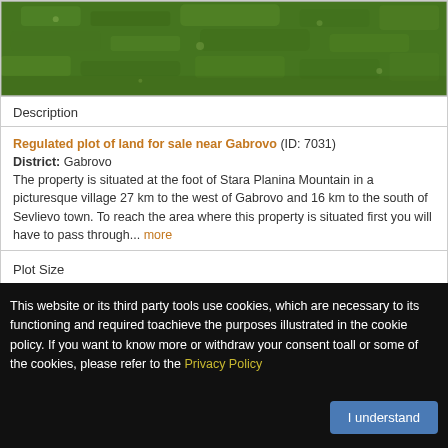[Figure (photo): Aerial or close-up photograph of green grass/lawn field]
Description
Regulated plot of land for sale near Gabrovo (ID: 7031)
District: Gabrovo
The property is situated at the foot of Stara Planina Mountain in a picturesque village 27 km to the west of Gabrovo and 16 km to the south of Sevlievo town. To reach the area where this property is situated first you will have to pass through... more
Plot Size
This website or its third party tools use cookies, which are necessary to its functioning and required toachieve the purposes illustrated in the cookie policy. If you want to know more or withdraw your consent toall or some of the cookies, please refer to the Privacy Policy